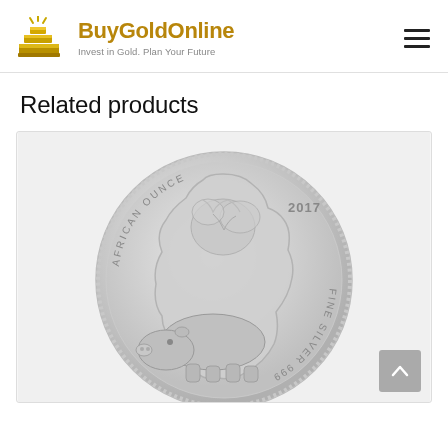BuyGoldOnline — Invest in Gold. Plan Your Future
Related products
[Figure (photo): Silver coin — 2017 African Ounce Fine Silver 999, featuring a hippopotamus and a map of Africa relief design on the obverse]